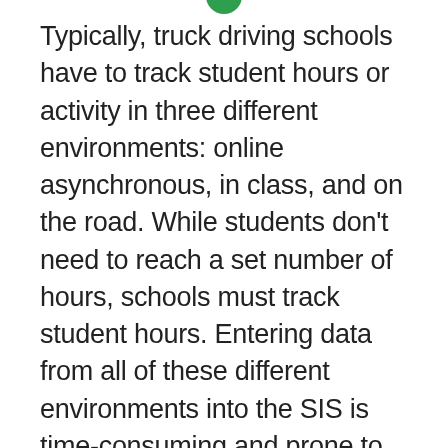[Figure (illustration): Small green circular icon partially visible at top center of page]
Typically, truck driving schools have to track student hours or activity in three different environments: online asynchronous, in class, and on the road. While students don't need to reach a set number of hours, schools must track student hours. Entering data from all of these different environments into the SIS is time-consuming and prone to human error in small schools, but with the projected influx of students facing driving